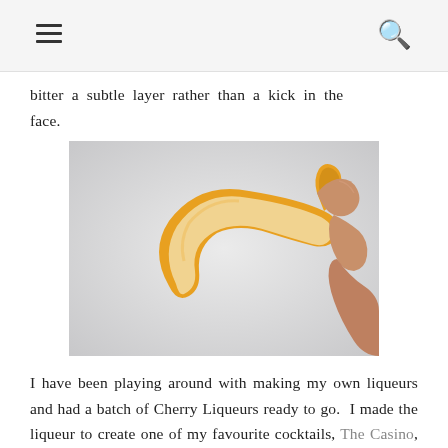≡  🔍
bitter a subtle layer rather than a kick in the face.
[Figure (photo): A hand holding a twisted citrus peel (lemon or orange) against a light grey background. The peel is bright yellow-orange on the outside and white/cream on the inside, curved in an S-shape.]
I have been playing around with making my own liqueurs and had a batch of Cherry Liqueurs ready to go.  I made the liqueur to create one of my favourite cocktails, The Casino, but knew that its fruity sharp sweetness would be the perfect contrast to the Campari's bitter.  Against